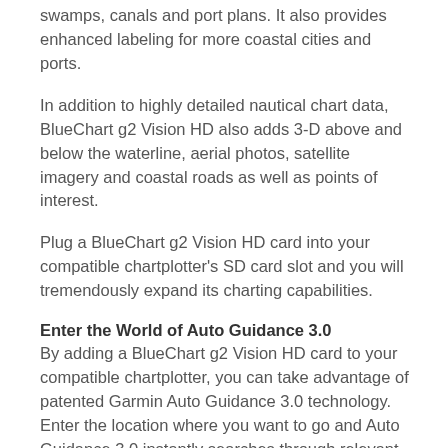swamps, canals and port plans. It also provides enhanced labeling for more coastal cities and ports.
In addition to highly detailed nautical chart data, BlueChart g2 Vision HD also adds 3-D above and below the waterline, aerial photos, satellite imagery and coastal roads as well as points of interest.
Plug a BlueChart g2 Vision HD card into your compatible chartplotter's SD card slot and you will tremendously expand its charting capabilities.
Enter the World of Auto Guidance 3.0
By adding a BlueChart g2 Vision HD card to your compatible chartplotter, you can take advantage of patented Garmin Auto Guidance 3.0 technology. Enter the location where you want to go and Auto Guidance 3.0 instantly searches through relevant charts to create a path specifically designed for the